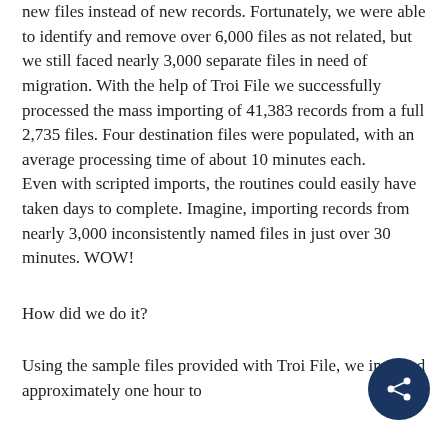new files instead of new records. Fortunately, we were able to identify and remove over 6,000 files as not related, but we still faced nearly 3,000 separate files in need of migration. With the help of Troi File we successfully processed the mass importing of 41,383 records from a full 2,735 files. Four destination files were populated, with an average processing time of about 10 minutes each.
Even with scripted imports, the routines could easily have taken days to complete. Imagine, importing records from nearly 3,000 inconsistently named files in just over 30 minutes. WOW!
How did we do it?
Using the sample files provided with Troi File, we invested approximately one hour to